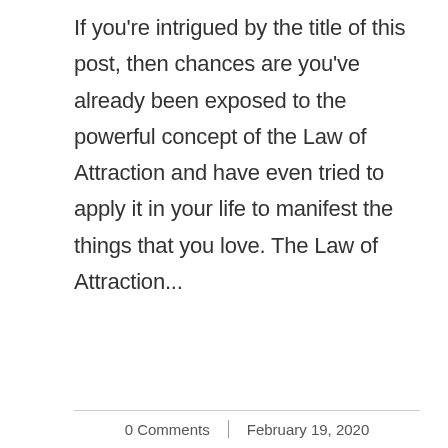If you're intrigued by the title of this post, then chances are you've already been exposed to the powerful concept of the Law of Attraction and have even tried to apply it in your life to manifest the things that you love. The Law of Attraction...
0 Comments | February 19, 2020